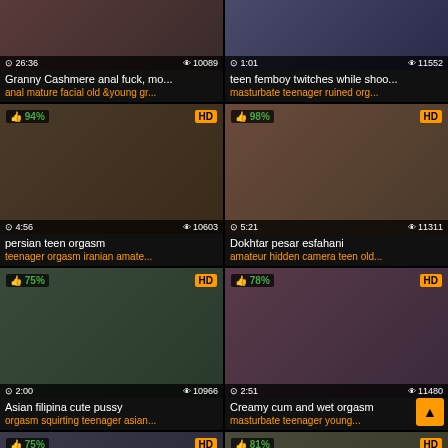[Figure (screenshot): Video thumbnail grid showing adult content video listings with thumbnails, titles, tags, duration and view counts]
Granny Cashmere anal fuck, mo... | 26:36 | 10089 views | anal mature facial old & young gr...
teen femboy twitches while shoo... | 1:01 | 11552 views | masturbate teenager ruined org...
persian teen orgasm | 94% HD | 4:56 | 10603 | teenager orgasm iranian amate...
Dokhtar pesar esfahani | 98% HD | 5:21 | 11311 | amateur hidden camera teen old...
Asian filipina cute pussy | 75% HD | 2:00 | 10966 | orgasm squirting teenager asian...
Creamy cum and wet orgasm | 78% HD | 2:51 | 11480 | masturbate teenager young...
75% HD (partial thumbnail row)
81% HD (partial thumbnail row)